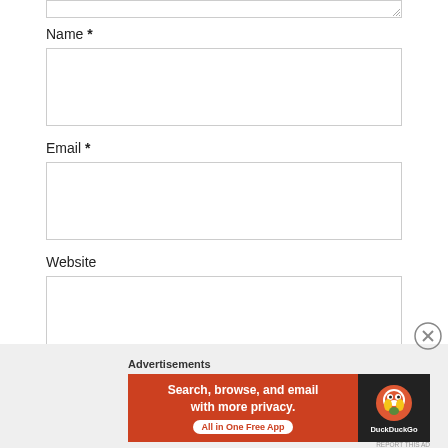[Figure (screenshot): Top portion of a textarea input box with resize handle visible at bottom right]
Name *
[Figure (screenshot): Empty text input box for Name field]
Email *
[Figure (screenshot): Empty text input box for Email field]
Website
[Figure (screenshot): Empty text input box for Website field]
[Figure (screenshot): Post Comment button, dark grey/slate color]
Advertisements
[Figure (screenshot): DuckDuckGo advertisement banner: Search, browse, and email with more privacy. All in One Free App]